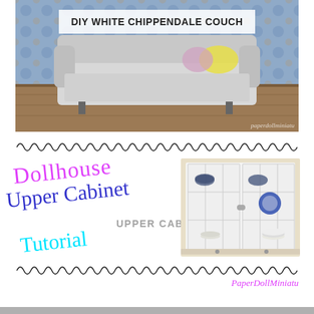[Figure (photo): Photo of a white Chippendale-style miniature couch/sofa on a wooden floor with colorful wallpaper background. Text overlay reads DIY WHITE CHIPPENDALE COUCH. Watermark: paperdollminiatu]
[Figure (illustration): Decorative wavy/scallop border divider line in dark color]
[Figure (illustration): Composite graphic showing colorful script text 'Dollhouse Upper Cabinet Tutorial' overlapping with photo of white glass-front upper kitchen cabinet containing dishes, with text UPPER CABINETS]
[Figure (illustration): Decorative wavy/scallop border divider line in dark color]
PaperDollMiniatu